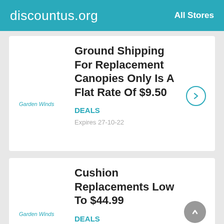discountus.org   All Stores
Ground Shipping For Replacement Canopies Only Is A Flat Rate Of $9.50
DEALS
Expires 27-10-22
Cushion Replacements Low To $44.99
DEALS
Expires 27-10-22